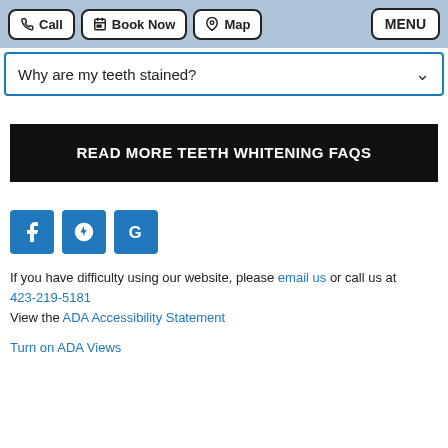Call | Book Now | Map | MENU
Why are my teeth stained?
READ MORE TEETH WHITENING FAQS
[Figure (other): Social media icons: Facebook, Yelp, Google]
If you have difficulty using our website, please email us or call us at 423-219-5181
View the ADA Accessibility Statement
Turn on ADA Views